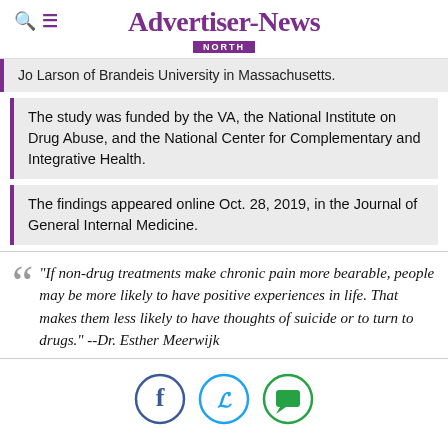Advertiser-News NORTH
Jo Larson of Brandeis University in Massachusetts.
The study was funded by the VA, the National Institute on Drug Abuse, and the National Center for Complementary and Integrative Health.
The findings appeared online Oct. 28, 2019, in the Journal of General Internal Medicine.
"If non-drug treatments make chronic pain more bearable, people may be more likely to have positive experiences in life. That makes them less likely to have thoughts of suicide or to turn to drugs." --Dr. Esther Meerwijk
[Figure (other): Social media sharing icons: Facebook (blue circle with f), Twitter (light blue circle with bird), and a green chat/comment bubble icon]